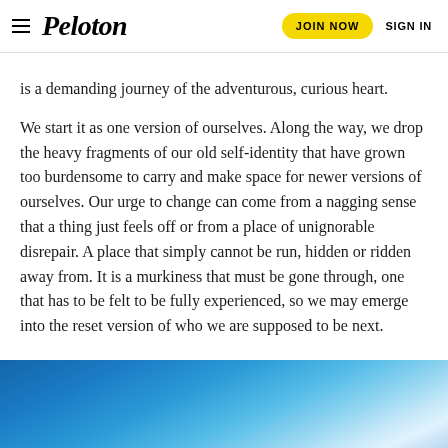Peloton — JOIN NOW | SIGN IN
is a demanding journey of the adventurous, curious heart.
We start it as one version of ourselves. Along the way, we drop the heavy fragments of our old self-identity that have grown too burdensome to carry and make space for newer versions of ourselves. Our urge to change can come from a nagging sense that a thing just feels off or from a place of unignorable disrepair. A place that simply cannot be run, hidden or ridden away from. It is a murkiness that must be gone through, one that has to be felt to be fully experienced, so we may emerge into the reset version of who we are supposed to be next.
[Figure (photo): Blue sky gradient background image, transitioning from deep blue at the left to lighter blue and white/bright tones at the upper right, suggesting sunlight or horizon.]